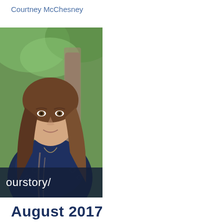Courtney McChesney
[Figure (photo): Portrait photo of Courtney McChesney, a young woman with long brown hair wearing a navy lace top, seated outdoors near a tree. The photo has an 'ourstory/' watermark overlay at the bottom.]
August 2017